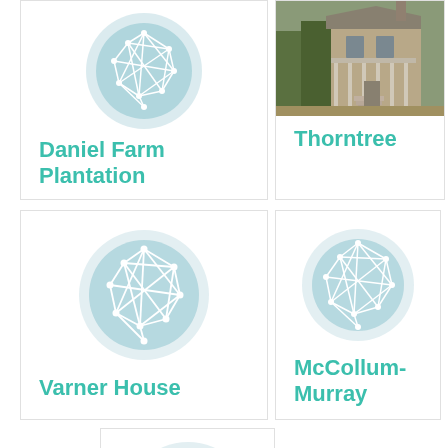[Figure (illustration): Card with network graph icon on teal circle, labeled Daniel Farm Plantation]
Daniel Farm Plantation
[Figure (photo): Card with photo of a historic plantation house (Thorntree), two-story with porch and exterior stairs]
Thorntree
[Figure (illustration): Card with network graph icon on teal circle, labeled Varner House]
Varner House
[Figure (illustration): Card with network graph icon on teal circle, labeled McCollum-Murray]
McCollum-Murray
[Figure (illustration): Partial card with network graph icon on teal circle, cut off at bottom of page]